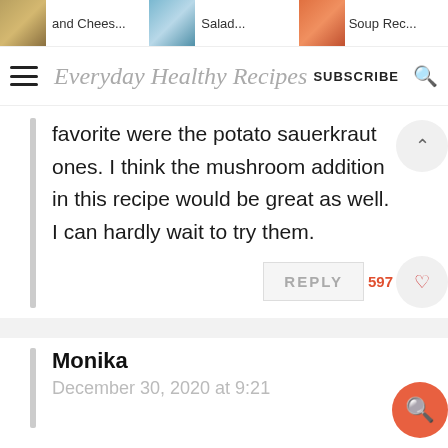and Chees...   Salad...   Soup Rec...
Everyday Healthy Recipes  SUBSCRIBE
favorite were the potato sauerkraut ones. I think the mushroom addition in this recipe would be great as well. I can hardly wait to try them.
REPLY 597
Monika
December 30, 2020 at 9:21